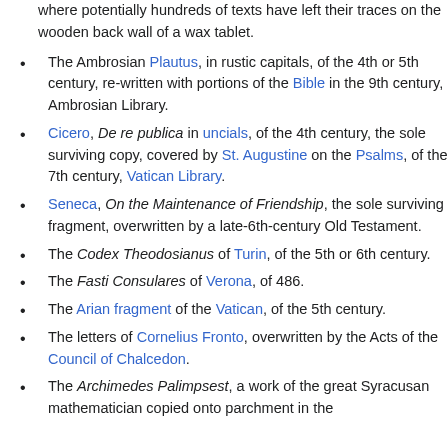where potentially hundreds of texts have left their traces on the wooden back wall of a wax tablet.
The Ambrosian Plautus, in rustic capitals, of the 4th or 5th century, re-written with portions of the Bible in the 9th century, Ambrosian Library.
Cicero, De re publica in uncials, of the 4th century, the sole surviving copy, covered by St. Augustine on the Psalms, of the 7th century, Vatican Library.
Seneca, On the Maintenance of Friendship, the sole surviving fragment, overwritten by a late-6th-century Old Testament.
The Codex Theodosianus of Turin, of the 5th or 6th century.
The Fasti Consulares of Verona, of 486.
The Arian fragment of the Vatican, of the 5th century.
The letters of Cornelius Fronto, overwritten by the Acts of the Council of Chalcedon.
The Archimedes Palimpsest, a work of the great Syracusan mathematician copied onto parchment in the